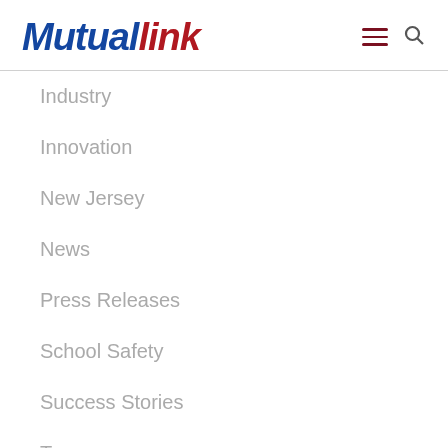Mutuallink
Industry
Innovation
New Jersey
News
Press Releases
School Safety
Success Stories
Texas